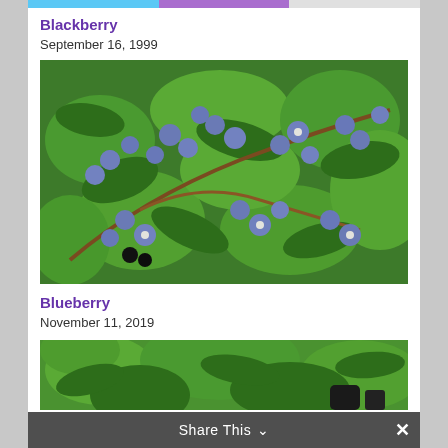[Figure (other): Navigation bar strip with colored segments at top of page]
Blackberry
September 16, 1999
[Figure (photo): Close-up photo of blueberries on a bush with green leaves]
Blueberry
November 11, 2019
[Figure (photo): Partial photo of blueberry bush with green leaves at bottom of page]
Share This ∨  ×